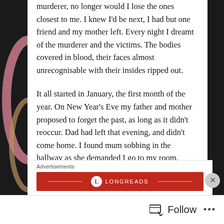murderer, no longer would I lose the ones closest to me. I knew I'd be next, I had but one friend and my mother left. Every night I dreamt of the murderer and the victims. The bodies covered in blood, their faces almost unrecognisable with their insides ripped out.

It all started in January, the first month of the year. On New Year's Eve my father and mother proposed to forget the past, as long as it didn't reoccur. Dad had left that evening, and didn't come home. I found mum sobbing in the hallway as she demanded I go to my room. Then, we didn't see him for ten days straight, until his body appeared in the middle of the town hall, cut into pieces. Police took the body away
Advertisements
[Figure (logo): Longreads advertisement banner with red background and Longreads logo]